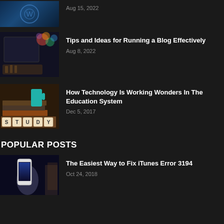Aug 15, 2022
[Figure (photo): Laptop with WordPress logo on dark background]
Tips and Ideas for Running a Blog Effectively
Aug 8, 2022
[Figure (photo): Books stacked with STUDY letter tiles and teal mug]
How Technology Is Working Wonders In The Education System
Dec 5, 2017
POPULAR POSTS
[Figure (photo): Hand holding a smartphone]
The Easiest Way to Fix iTunes Error 3194
Oct 24, 2018